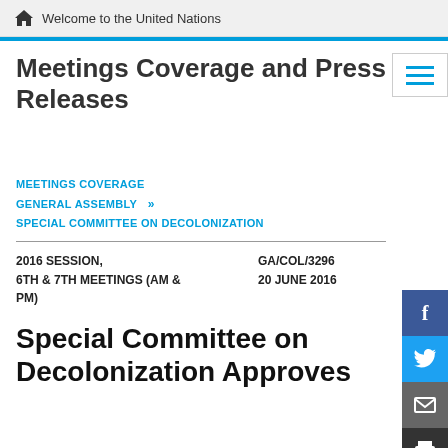Welcome to the United Nations
Meetings Coverage and Press Releases
MEETINGS COVERAGE
GENERAL ASSEMBLY  »
SPECIAL COMMITTEE ON DECOLONIZATION
2016 SESSION, 6TH & 7TH MEETINGS (AM & PM)
GA/COL/3296 20 JUNE 2016
Special Committee on Decolonization Approves